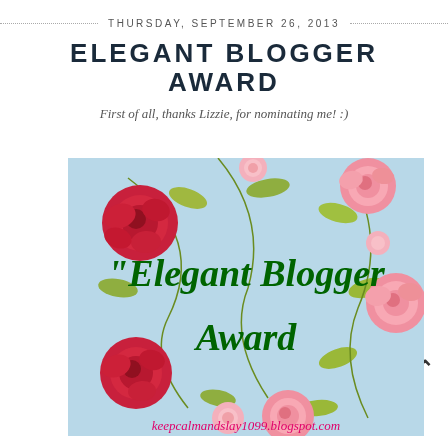THURSDAY, SEPTEMBER 26, 2013
ELEGANT BLOGGER AWARD
First of all, thanks Lizzie, for nominating me! :)
[Figure (illustration): Elegant Blogger Award badge with floral pink rose pattern on light blue background, text reads 'Elegant Blogger Award' in dark green italic script, with blog URL at bottom: keepcalmandstay1099.blogspot.com]